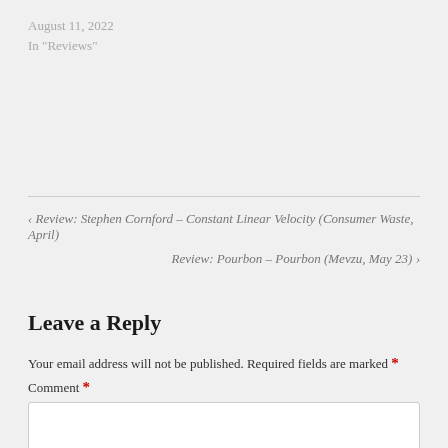August 11, 2022
In "Reviews"
< Review: Stephen Cornford – Constant Linear Velocity (Consumer Waste, April)
Review: Pourbon – Pourbon (Mevzu, May 23) >
Leave a Reply
Your email address will not be published. Required fields are marked *
Comment *